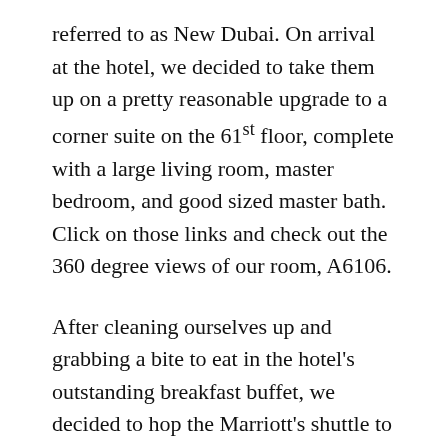referred to as New Dubai. On arrival at the hotel, we decided to take them up on a pretty reasonable upgrade to a corner suite on the 61st floor, complete with a large living room, master bedroom, and good sized master bath. Click on those links and check out the 360 degree views of our room, A6106.
After cleaning ourselves up and grabbing a bite to eat in the hotel's outstanding breakfast buffet, we decided to hop the Marriott's shuttle to the Dubai Mall, one of the 56 malls in the city, and the one containing the huge aquarium and the entrance to the Burj Khalifa tour. After a bit of a walk around the mall (it's huge), we decided to grad some lunch. Being Ramadan,